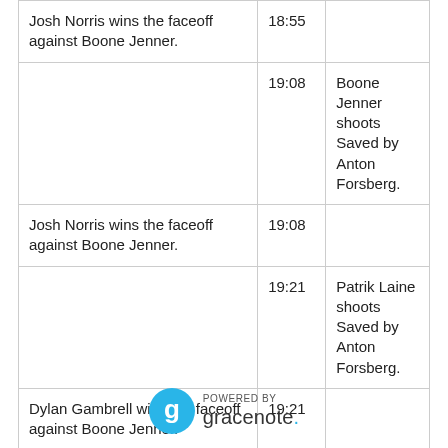|  |  |  |
| --- | --- | --- |
| Josh Norris wins the faceoff against Boone Jenner. | 18:55 |  |
|  | 19:08 | Boone Jenner shoots Saved by Anton Forsberg. |
| Josh Norris wins the faceoff against Boone Jenner. | 19:08 |  |
|  | 19:21 | Patrik Laine shoots Saved by Anton Forsberg. |
| Dylan Gambrell wins the faceoff against Boone Jenner. | 19:21 |  |
| Dylan Gambrell wins the faceoff against Boone Jenner. | 19:33 |  |
[Figure (logo): Powered by Gracenote logo with circular icon]